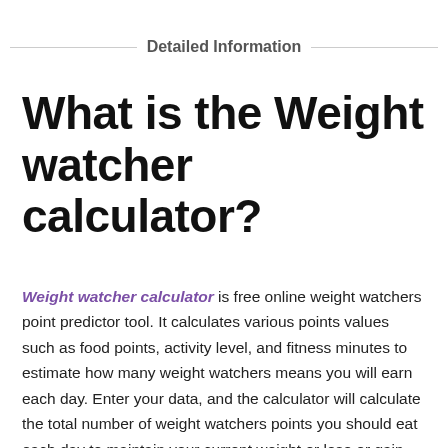Detailed Information
What is the Weight watcher calculator?
Weight watcher calculator is free online weight watchers point predictor tool. It calculates various points values such as food points, activity level, and fitness minutes to estimate how many weight watchers means you will earn each day. Enter your data, and the calculator will calculate the total number of weight watchers points you should eat each day to maintain your current weight or lose or gain desired pounds per week.